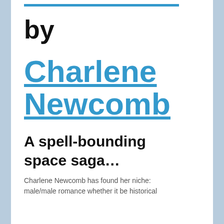by
Charlene Newcomb
A spell-bounding space saga…
Charlene Newcomb has found her niche: male/male romance whether it be historical